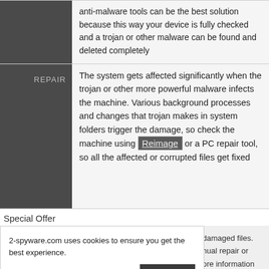|  |  |
| --- | --- |
|  | anti-malware tools can be the best solution because this way your device is fully checked and a trojan or other malware can be found and deleted completely |
| REPAIR | The system gets affected significantly when the trojan or other more powerful malware infects the machine. Various background processes and changes that trojan makes in system folders trigger the damage, so check the machine using Reimage or a PC repair tool, so all the affected or corrupted files get fixed |
Special Offer
damaged files. nual repair or ore information
2-spyware.com uses cookies to ensure you get the best experience.
Privacy policy
Agree